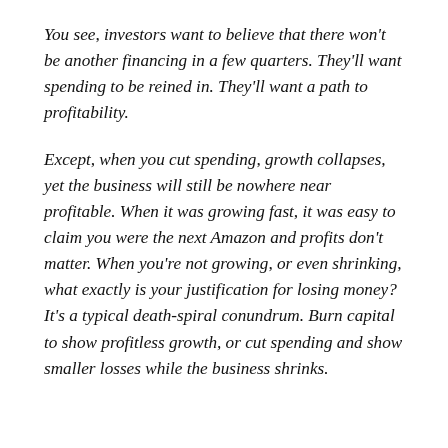You see, investors want to believe that there won't be another financing in a few quarters. They'll want spending to be reined in. They'll want a path to profitability.
Except, when you cut spending, growth collapses, yet the business will still be nowhere near profitable. When it was growing fast, it was easy to claim you were the next Amazon and profits don't matter. When you're not growing, or even shrinking, what exactly is your justification for losing money? It's a typical death-spiral conundrum. Burn capital to show profitless growth, or cut spending and show smaller losses while the business shrinks.